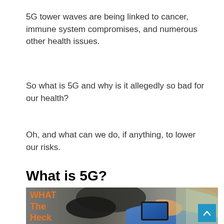5G tower waves are being linked to cancer, immune system compromises, and numerous other health issues.
So what is 5G and why is it allegedly so bad for our health?
Oh, and what can we do, if anything, to lower our risks.
What is 5G?
[Figure (photo): Photo of a woman holding a smartphone, with overlay text in orange reading 'WHAT The Heck Is This 5G' and a blue scroll-up button in the bottom right corner.]